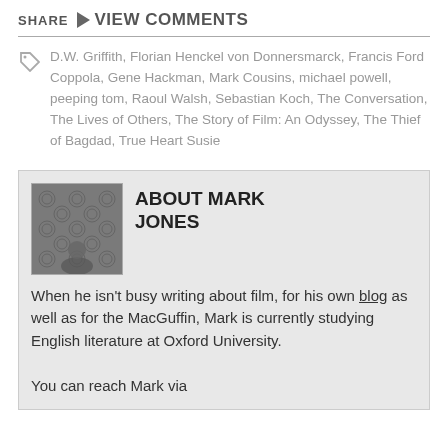SHARE ▶ VIEW COMMENTS
D.W. Griffith, Florian Henckel von Donnersmarck, Francis Ford Coppola, Gene Hackman, Mark Cousins, michael powell, peeping tom, Raoul Walsh, Sebastian Koch, The Conversation, The Lives of Others, The Story of Film: An Odyssey, The Thief of Bagdad, True Heart Susie
ABOUT MARK JONES
When he isn't busy writing about film, for his own blog as well as for the MacGuffin, Mark is currently studying English literature at Oxford University.

You can reach Mark via